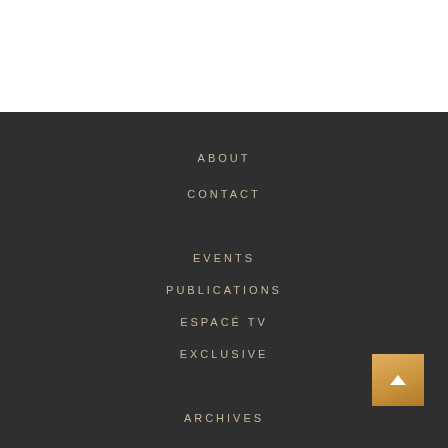ABOUT
CONTACT
EVENTS
PUBLICATIONS
ESPACÉ TV
EXCLUSIVE
ARCHIVES